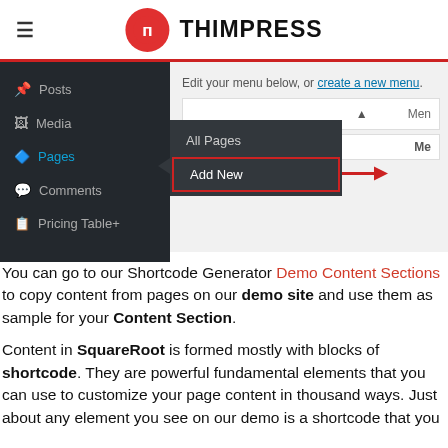THIMPRESS
[Figure (screenshot): WordPress admin sidebar showing Posts, Media, Pages (active with submenu showing All Pages and Add New highlighted with red border and red arrow), Comments, Pricing Table+ items. Right side shows menu editor with 'Edit your menu below, or create a new menu.' text.]
You can go to our Shortcode Generator Demo Content Sections to copy content from pages on our demo site and use them as sample for your Content Section.
Content in SquareRoot is formed mostly with blocks of shortcode. They are powerful fundamental elements that you can use to customize your page content in thousand ways. Just about any element you see on our demo is a shortcode that you